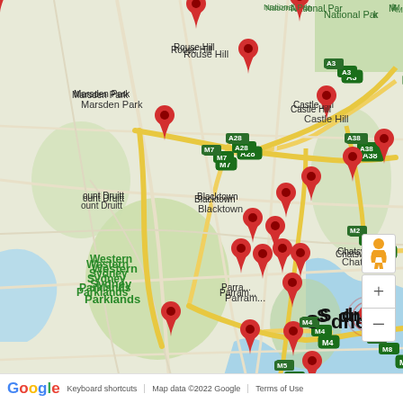[Figure (map): Google Map of Greater Sydney, Australia showing approximately 25 red location pins clustered across the metropolitan area including suburbs such as Rouse Hill, Castle Hill, Marsden Park, Mount Druitt, Blacktown, Parramatta, Western Sydney Parklands, Liverpool, Bankstown, Marrickville, Mascot, Chatswood, and Sydney CBD. Map shows road network, motorways (M2, M4, M5, M7, M8, A1, A3, A6, A28, A38, B69), green parkland areas, and blue waterways. Google branding and map controls visible.]
Keyboard shortcuts   Map data ©2022 Google   Terms of Use